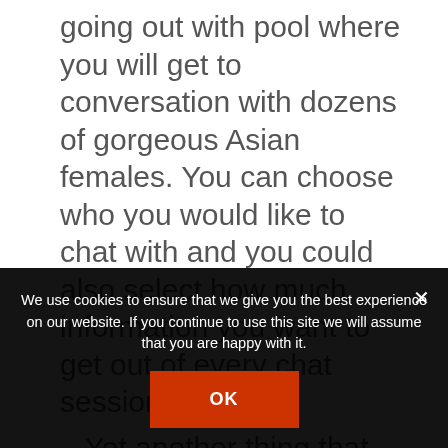going out with pool where you will get to conversation with dozens of gorgeous Asian females. You can choose who you would like to chat with and you could also select how much information you want to get out of every chat session.

– Yet another thing that
We use cookies to ensure that we give you the best experience on our website. If you continue to use this site we will assume that you are happy with it.
OK